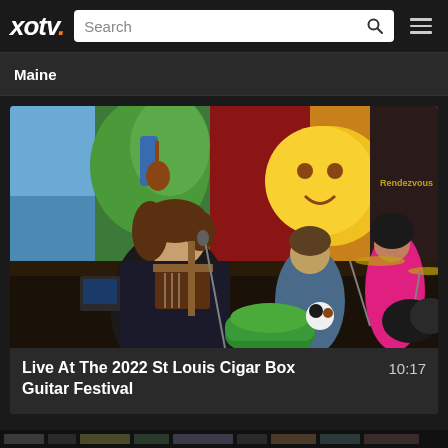xotv. Search [search icon] [menu icon]
Maine
[Figure (photo): Live performance photo showing musicians playing cigar box guitars and drums inside a colorfully painted venue with murals on the walls. A man in a dark shirt with orange accents plays a small guitar in the foreground.]
Live At The 2022 St Louis Cigar Box Guitar Festival
10:17